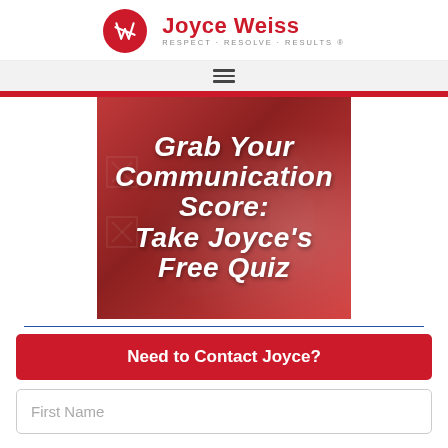Joyce Weiss — RESPECT · RESOLVE · RESULTS ®
[Figure (logo): Joyce Weiss logo with red circular emblem and text 'Joyce Weiss' in red with tagline 'RESPECT · RESOLVE · RESULTS ®' in grey]
[Figure (screenshot): Promotional banner image with red/crimson duotone background showing a person writing on a board, with white handwritten-style text: 'Grab Your Communication Score: Take Joyce's Free Quiz']
Grab Your Communication Score: Take Joyce's Free Quiz
Need to Contact Joyce?
First Name